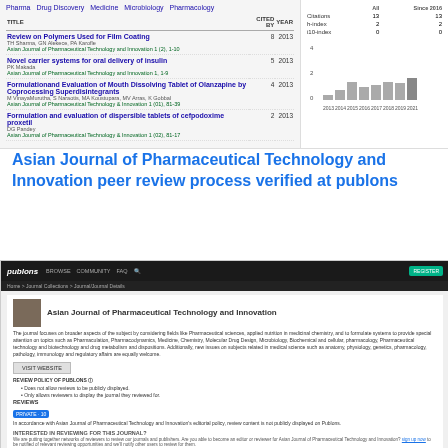[Figure (screenshot): Google Scholar profile screenshot showing publication list with citations and a bar chart of citations per year. Tags: Pharma, Drug Discovery, Medicine, Microbiology, Pharmacology. Table with TITLE, CITED BY, YEAR columns listing 4 articles. Right panel shows stats (Citations: 13, h-index: 2, i10-index: 0) and a bar chart of citations by year.]
Asian Journal of Pharmaceutical Technology and Innovation peer review process verified at publons
[Figure (screenshot): Publons website screenshot showing the journal page for Asian Journal of Pharmaceutical Technology and Innovation. Includes journal description, visit website button, review policy (does not allow reviews to be publicly displayed, only allows reviewers to display the journal they reviewed for), private badge, reviews text about editorial policy, interested in reviewing section, verified peer review section, and endorsed by section with claim your journal button.]